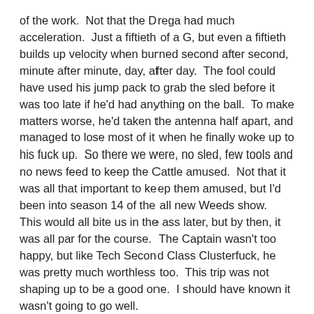of the work.  Not that the Drega had much acceleration.  Just a fiftieth of a G, but even a fiftieth builds up velocity when burned second after second, minute after minute, day, after day.  The fool could have used his jump pack to grab the sled before it was too late if he'd had anything on the ball.  To make matters worse, he'd taken the antenna half apart, and managed to lose most of it when he finally woke up to his fuck up.  So there we were, no sled, few tools and no news feed to keep the Cattle amused.  Not that it was all that important to keep them amused, but I'd been into season 14 of the all new Weeds show.  This would all bite us in the ass later, but by then, it was all par for the course.  The Captain wasn't too happy, but like Tech Second Class Clusterfuck, he was pretty much worthless too.  This trip was not shaping up to be a good one.  I should have known it wasn't going to go well.
At the three month mark it was time to shut down the main engine and start the turn-around where we swap ends so we could decelerate.  Yeah, good ol Captain Custerfuck and Tech second class made a great team.  Now if anyone knows much about Cattle ships, you understand you slowly